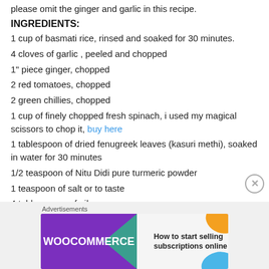please omit the ginger and garlic in this recipe.
INGREDIENTS:
1 cup of basmati rice, rinsed and soaked for 30 minutes.
4 cloves of garlic , peeled and chopped
1" piece ginger, chopped
2 red tomatoes, chopped
2 green chillies, chopped
1 cup of finely chopped fresh spinach, i used my magical scissors to chop it, buy here
1 tablespoon of dried fenugreek leaves (kasuri methi), soaked in water for 30 minutes
1/2 teaspoon of Nitu Didi pure turmeric powder
1 teaspoon of salt or to taste
4 tablespoons of oil
[Figure (infographic): WooCommerce advertisement banner: 'How to start selling subscriptions online']